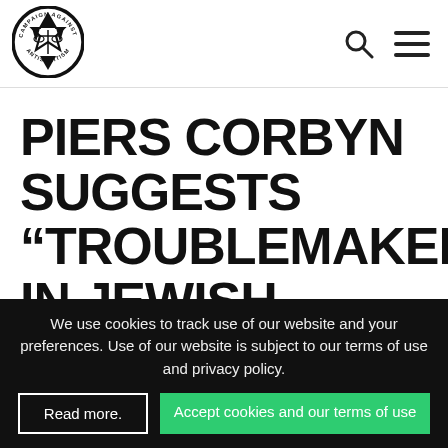[Figure (logo): Campaign Against Antisemitism circular logo with Star of David and scales of justice]
PIERS CORBYN SUGGESTS “TROUBLEMAKERS” IN JEWISH AREAS POSTED LEAFLETS
We use cookies to track use of our website and your preferences. Use of our website is subject to our terms of use and privacy policy.
Read more.
Accept cookies and our terms of use